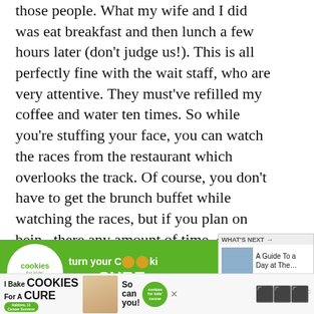those people. What my wife and I did was eat breakfast and then lunch a few hours later (don't judge us!). This is all perfectly fine with the wait staff, who are very attentive. They must've refilled my coffee and water ten times. So while you're stuffing your face, you can watch the races from the restaurant which overlooks the track. Of course, you don't have to get the brunch buffet while watching the races, but if you plan on being there any amount of time, get yourself some brunch.
[Figure (screenshot): Green advertisement banner for Cookies for Kids' Cancer: 'turn your Cookies into a CURE LEARN HOW']
[Figure (screenshot): 'WHAT'S NEXT' box showing 'A Guide To a Day at The...']
[Figure (screenshot): Second ad banner: 'I Bake COOKIES For A CURE' with Haldora, Cancer Survivor; 'So can you!' with Cookies for Kids Cancer badge]